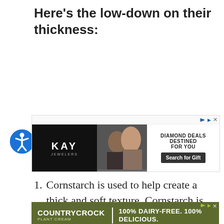Here's the low-down on their thickness:
[Figure (screenshot): Kay Jewelers advertisement banner with logo, couple photo, text 'DIAMOND DEALS DESTINED FOR YOU' and 'Search for Gift' button]
1. Cornstarch is used to help create a thick and soft texture. Cornstarch is
[Figure (screenshot): Country Crock Plant Cream advertisement: '100% DAIRY-FREE. 100% DELICIOUS.']